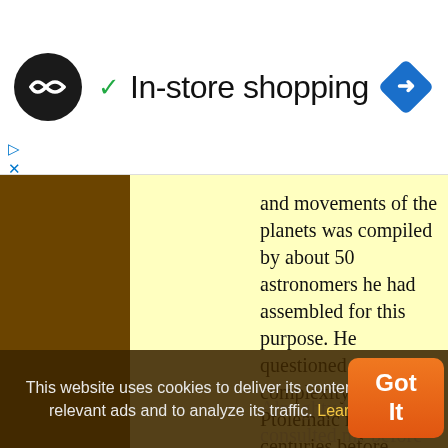[Figure (screenshot): Screenshot of a webpage with top navigation bar showing a logo, checkmark and 'In-store shopping' text, and a blue navigation diamond icon on the right.]
and movements of the planets was compiled by about 50 astronomers he had assembled for this purpose. He questioned the complexity of the Ptolemaic model centuries before Copernicus. “If the Lord
Almighty had consulted me before embarking on the Creation, I would have
This website uses cookies to deliver its content, to show relevant ads and to analyze its traffic. Learn More
Got It